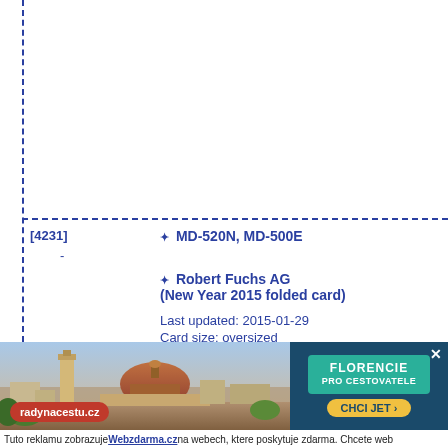[4231]
MD-520N, MD-500E
-
Robert Fuchs AG
(New Year 2015 folded card)
Last updated: 2015-01-29
Card size: oversized
[Figure (photo): Advertisement banner showing Florence skyline with dome, radynacestu.cz badge, and Florencie Pro Cestovatele promotional call-to-action panel]
Tuto reklamu zobrazuje Webzdarma.cz na webech, ktere poskytuje zdarma. Chcete web